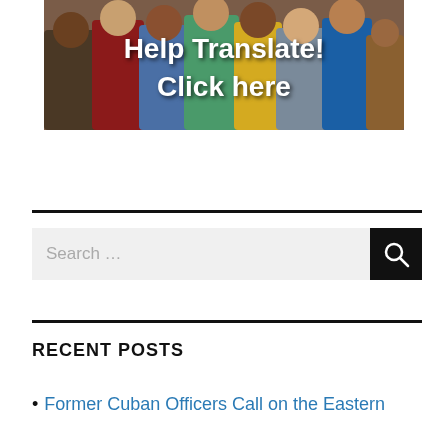[Figure (photo): A group of children standing together outdoors, with white bold text overlay reading 'Help Translate! Click here']
Search …
RECENT POSTS
Former Cuban Officers Call on the Eastern